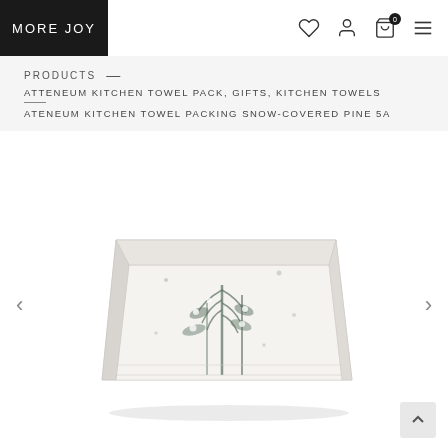MORE JOY
PRODUCTS — ATTENEUM KITCHEN TOWEL PACK, GIFTS, KITCHEN TOWELS — ATENEUM KITCHEN TOWEL PACKING SNOW-COVERED PINE 5A
[Figure (photo): A folded kitchen towel with a snow-covered pine tree print, displayed against a white background. Navigation arrows (< >) on either side.]